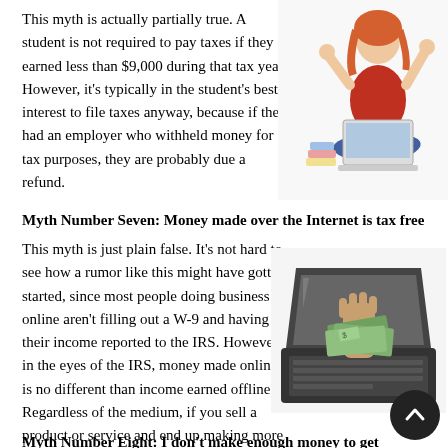This myth is actually partially true. A student is not required to pay taxes if they earned less than $9,000 during that tax year. However, it's typically in the student's best interest to file taxes anyway, because if they had an employer who withheld money for tax purposes, they are probably due a refund.
[Figure (photo): A young woman with red hair sitting cross-legged with a laptop, appearing frustrated or confused, with hands raised]
Myth Number Seven: Money made over the Internet is tax free
This myth is just plain false. It's not hard to see how a rumor like this might have gotten started, since most people doing business online aren't filling out a W-9 and having their income reported to the IRS. However, in the eyes of the IRS, money made online is no different than income earned offline. Regardless of the medium, if you sell a product or service and end up making more than $400, you're required to declare that income on your tax returns.
[Figure (photo): A hand reaching out from a laptop screen holding cash/money bills, representing internet money]
Myth Number Eight: I don't make enough money to get audited...